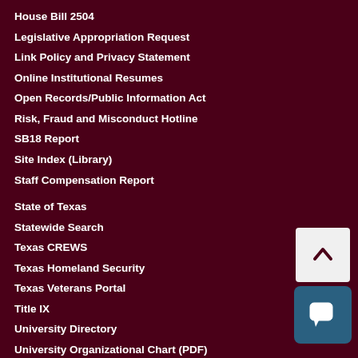House Bill 2504
Legislative Appropriation Request
Link Policy and Privacy Statement
Online Institutional Resumes
Open Records/Public Information Act
Risk, Fraud and Misconduct Hotline
SB18 Report
Site Index (Library)
Staff Compensation Report
State of Texas
Statewide Search
Texas CREWS
Texas Homeland Security
Texas Veterans Portal
Title IX
University Directory
University Organizational Chart (PDF)
Virtual Tour
[Figure (other): Scroll-to-top button with upward chevron arrow]
[Figure (other): Chat widget button with speech bubble icon]